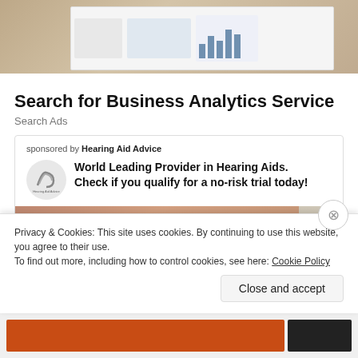[Figure (screenshot): Screenshot of a business analytics dashboard on a wooden desk background]
Search for Business Analytics Service
Search Ads
[Figure (infographic): Sponsored ad card for Hearing Aid Advice with logo, headline text, and product images showing hearing aids held in hands]
Privacy & Cookies: This site uses cookies. By continuing to use this website, you agree to their use.
To find out more, including how to control cookies, see here: Cookie Policy
Close and accept